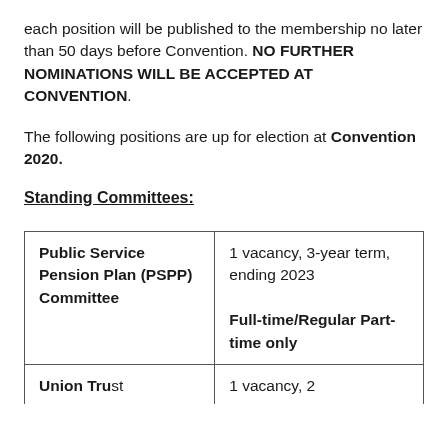each position will be published to the membership no later than 50 days before Convention. NO FURTHER NOMINATIONS WILL BE ACCEPTED AT CONVENTION.
The following positions are up for election at Convention 2020.
Standing Committees:
| Committee | Vacancy Details |
| --- | --- |
| Public Service Pension Plan (PSPP) Committee | 1 vacancy, 3-year term, ending 2023

Full-time/Regular Part-time only |
| [partial row visible] | 1 vacancy, 2... |